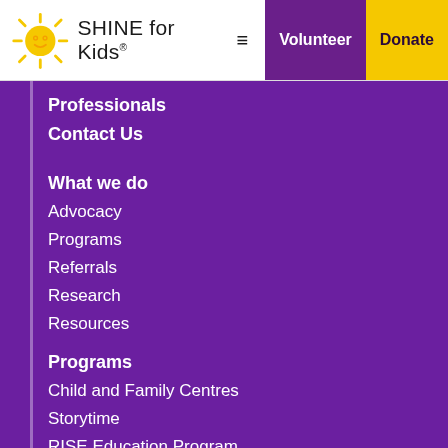[Figure (logo): SHINE for Kids logo with yellow sun icon and text]
Professionals
Contact Us
What we do
Advocacy
Programs
Referrals
Research
Resources
Programs
Child and Family Centres
Storytime
RISE Education Program
Ride By Your Side